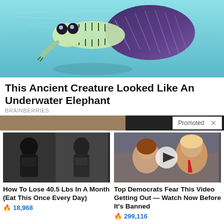[Figure (photo): Underwater scene showing an ancient creature resembling a fish skeleton with elephant-like trunk, large eyes, and spotted wing-like fins swimming in blue-green water]
This Ancient Creature Looked Like An Underwater Elephant
BRAINBERRIES
[Figure (photo): Promoted bar with partial image of person in background and a 'Promoted X' label overlay]
[Figure (photo): Before and after weight loss photos showing two women's backs in black bikini tops]
How To Lose 40.5 Lbs In A Month (Eat This Once Every Day)
🔥 18,968
[Figure (photo): Video thumbnail showing two people at a public event with a play button overlay]
Top Democrats Fear This Video Getting Out — Watch Now Before It's Banned
🔥 299,116